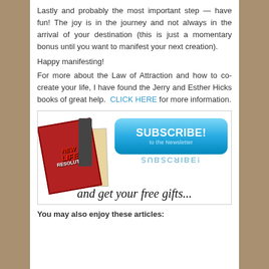Lastly and probably the most important step — have fun!  The joy is in the journey and not always in the arrival of your destination (this is just a momentary bonus until you want to manifest your next creation).
Happy manifesting!
For more about the Law of Attraction and how to co-create your life, I have found the Jerry and Esther Hicks books of great help.  CLICK HERE for more information.
[Figure (illustration): Subscribe to the Newsletter banner with book covers on the left, a blue Subscribe button, its reflection, and handwritten text 'and get your free gifts...']
You may also enjoy these articles: